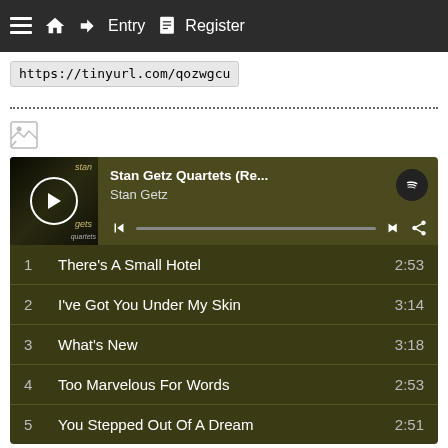≡  🏠  →  Entry  📋  Register
https://tinyurl.com/qozwgcu
[Figure (screenshot): Spotify embedded player widget showing 'Stan Getz Quartets (Re...' album by Stan Getz with tracklist: 1. There's A Small Hotel 2:53, 2. I've Got You Under My Skin 3:14, 3. What's New 3:18, 4. Too Marvelous For Words 2:53, 5. You Stepped Out Of A Dream 2:51]